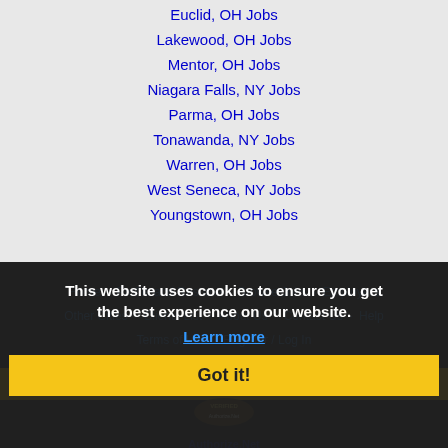Euclid, OH Jobs
Lakewood, OH Jobs
Mentor, OH Jobs
Niagara Falls, NY Jobs
Parma, OH Jobs
Tonawanda, NY Jobs
Warren, OH Jobs
West Seneca, NY Jobs
Youngstown, OH Jobs
Home | Profile and Resume | Browse Jobs | Employers | Other Cities | Clients List | About Us | Contact Us | Help | Terms of Use | Register / Log In
This website uses cookies to ensure you get the best experience on our website.
Learn more
Got it!
Copyright © 2001 - 2024 Hiter Media Corporation - Erie Jobs
[Figure (logo): Authorize.Net verified logo badge]